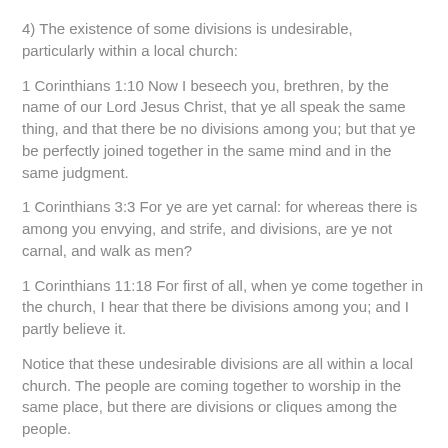4) The existence of some divisions is undesirable, particularly within a local church:
1 Corinthians 1:10 Now I beseech you, brethren, by the name of our Lord Jesus Christ, that ye all speak the same thing, and that there be no divisions among you; but that ye be perfectly joined together in the same mind and in the same judgment.
1 Corinthians 3:3 For ye are yet carnal: for whereas there is among you envying, and strife, and divisions, are ye not carnal, and walk as men?
1 Corinthians 11:18 For first of all, when ye come together in the church, I hear that there be divisions among you; and I partly believe it.
Notice that these undesirable divisions are all within a local church. The people are coming together to worship in the same place, but there are divisions or cliques among the people.